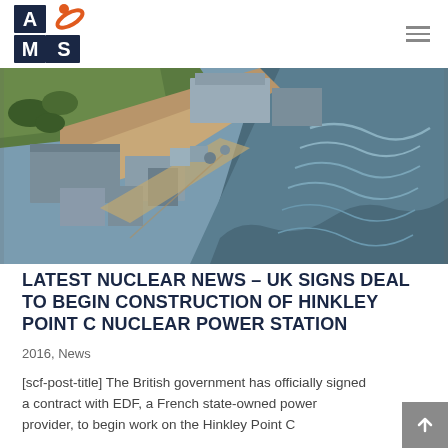AMS logo and navigation
[Figure (photo): Aerial view of Hinkley Point C nuclear power station construction site, showing buildings, roads, and coastline with ocean waves]
LATEST NUCLEAR NEWS – UK SIGNS DEAL TO BEGIN CONSTRUCTION OF HINKLEY POINT C NUCLEAR POWER STATION
2016, News
[scf-post-title] The British government has officially signed a contract with EDF, a French state-owned power provider, to begin work on the Hinkley Point C